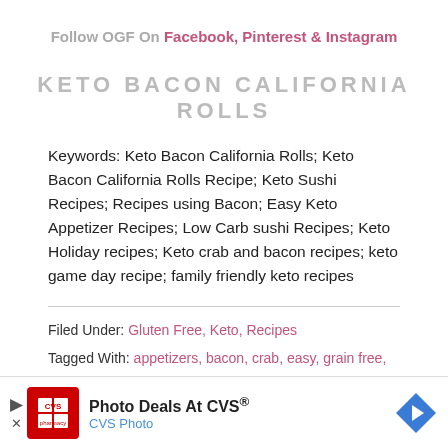Follow OGF On Facebook, Pinterest & Instagram
KETO BACON CALIFORNIA ROLLS
Keywords: Keto Bacon California Rolls; Keto Bacon California Rolls Recipe; Keto Sushi Recipes; Recipes using Bacon; Easy Keto Appetizer Recipes; Low Carb sushi Recipes; Keto Holiday recipes; Keto crab and bacon recipes; keto game day recipe; family friendly keto recipes
Filed Under: Gluten Free, Keto, Recipes
Tagged With: appetizers, bacon, crab, easy, grain free, keto, low carb, lunch, recipe, Snacks, sushi, wheat free
[Figure (other): CVS Photo advertisement banner: Photo Deals At CVS® with CVS pharmacy logo and blue navigation arrow]